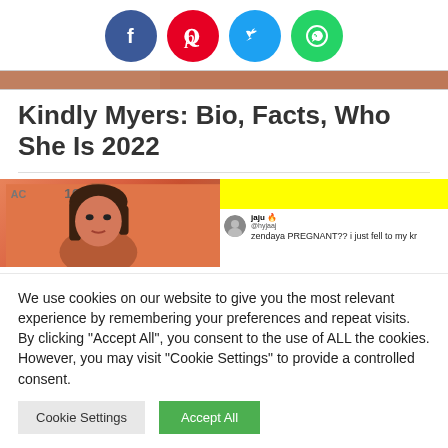[Figure (infographic): Social media share icons: Facebook (blue circle with f), Pinterest (red circle with P), Twitter (light blue circle with bird), WhatsApp (green circle with phone/logo)]
[Figure (photo): Partial photo strip showing a woman's face on orange/salmon background]
Kindly Myers: Bio, Facts, Who She Is 2022
[Figure (screenshot): Article image with woman's face on orange background labeled AC/100, next to a yellow banner and a tweet reading: jaju @hyjai - zendaya PREGNANT?? i just fell to my kr]
We use cookies on our website to give you the most relevant experience by remembering your preferences and repeat visits. By clicking "Accept All", you consent to the use of ALL the cookies. However, you may visit "Cookie Settings" to provide a controlled consent.